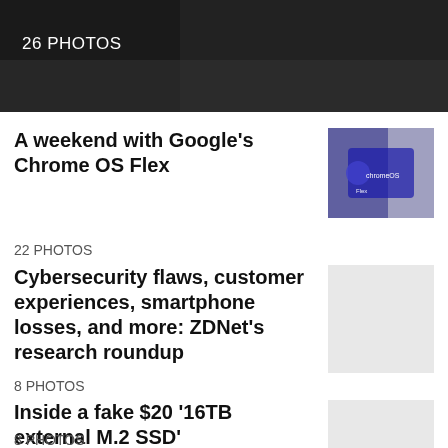[Figure (photo): Dark hero banner image, partially visible at top of page]
26 PHOTOS
A weekend with Google's Chrome OS Flex
[Figure (photo): Thumbnail image showing Chrome OS Flex on a device screen with ChromeOS logo visible]
22 PHOTOS
Cybersecurity flaws, customer experiences, smartphone losses, and more: ZDNet's research roundup
[Figure (photo): Light gray placeholder thumbnail]
8 PHOTOS
Inside a fake $20 '16TB external M.2 SSD'
[Figure (photo): Light gray placeholder thumbnail]
8 PHOTOS